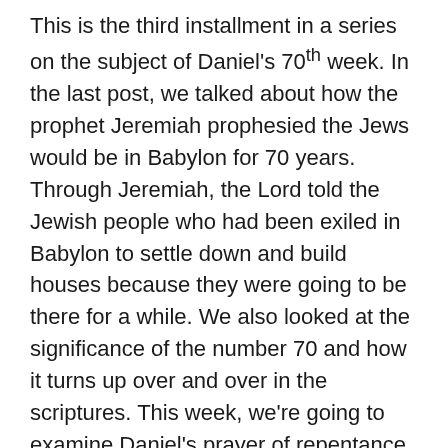This is the third installment in a series on the subject of Daniel's 70th week. In the last post, we talked about how the prophet Jeremiah prophesied the Jews would be in Babylon for 70 years. Through Jeremiah, the Lord told the Jewish people who had been exiled in Babylon to settle down and build houses because they were going to be there for a while. We also looked at the significance of the number 70 and how it turns up over and over in the scriptures. This week, we're going to examine Daniel's prayer of repentance.
By Karen Thompson
Third in a Four-Part Series